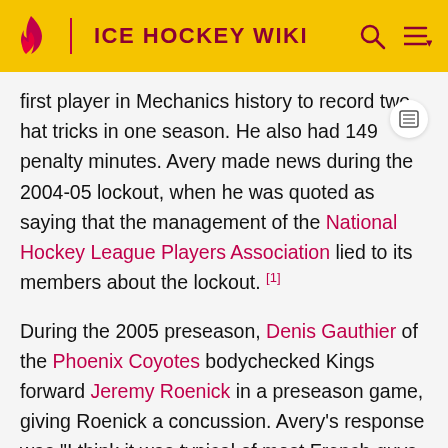ICE HOCKEY WIKI
first player in Mechanics history to record two hat tricks in one season. He also had 149 penalty minutes. Avery made news during the 2004-05 lockout, when he was quoted as saying that the management of the National Hockey League Players Association lied to its members about the lockout. [1]
During the 2005 preseason, Denis Gauthier of the Phoenix Coyotes bodychecked Kings forward Jeremy Roenick in a preseason game, giving Roenick a concussion. Avery's response was "I think it was typical of most French guys in our league with a visor on, running around and playing tough and not back anything up," giving way to much controversy with the French-Canadian public. [2] Avery also made news during the regular season when Georges